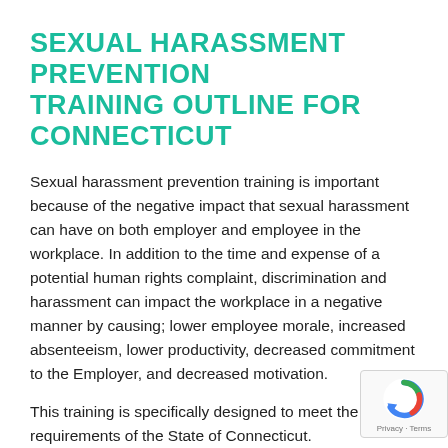SEXUAL HARASSMENT PREVENTION TRAINING OUTLINE FOR CONNECTICUT
Sexual harassment prevention training is important because of the negative impact that sexual harassment can have on both employer and employee in the workplace. In addition to the time and expense of a potential human rights complaint, discrimination and harassment can impact the workplace in a negative manner by causing; lower employee morale, increased absenteeism, lower productivity, decreased commitment to the Employer, and decreased motivation.
This training is specifically designed to meet the training requirements of the State of Connecticut.
The goal of this course is to educate supervisors about the important part they play in preventing discrimination, and to teach them what sexual harassment is and what they can do to stop it. As with